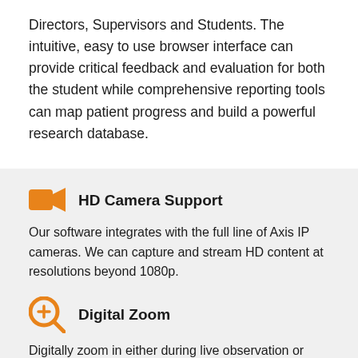Directors, Supervisors and Students. The intuitive, easy to use browser interface can provide critical feedback and evaluation for both the student while comprehensive reporting tools can map patient progress and build a powerful research database.
HD Camera Support
Our software integrates with the full line of Axis IP cameras. We can capture and stream HD content at resolutions beyond 1080p.
Digital Zoom
Digitally zoom in either during live observation or when